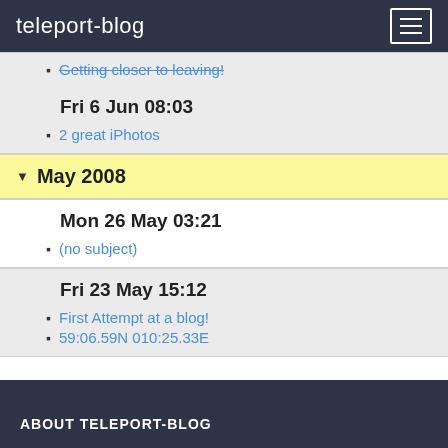teleport-blog
Getting closer to leaving!
Fri 6 Jun 08:03
2 great iPhotos
May 2008
Mon 26 May 03:21
(no subject)
Fri 23 May 15:12
First Attempt at a blog!
59:06.59N 010:25.33E
ABOUT TELEPORT-BLOG